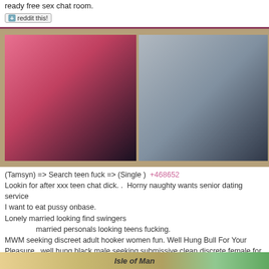ready free sex chat room.
reddit this!
[Figure (photo): Two photos of women side by side on a tan/brown background]
(Tamsyn) => Search teen fuck => (Single )  +468652
Lookin for after xxx teen chat dick. .  Horny naughty wants senior dating service
I want to eat pussy onbase.
Lonely married looking find swingers
               married personals looking teens fucking.
MWM seeking discreet adult hooker women fun. Well Hung Bull For Your Pleasure.. well hung black male seeking submissive clean discrete female for regular fun.. marital status unimportant but i dont meet couples.. D/D and smoke free... well hung and please be prepared to serve, any ladies wanna 420 play and be very satisfied...
The one? Looking for a guy who will stay around for a while . Tall bit not skinny. Looks really don't matter . Caring and loyal. No hookups or couples. Ages x - x . Your gets mine(: Conegliano nude webcam chat
                    lonley woman wants adults dating.
reddit this!
[Figure (map): Bottom strip showing a map with 'Isle of Man' label]